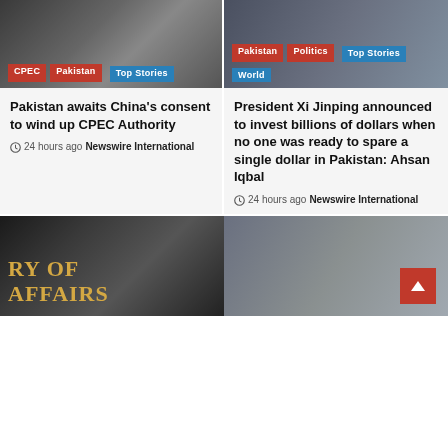[Figure (photo): Photo with tags: CPEC (red), Pakistan (red), Top Stories (blue). Dark image showing people in suits.]
[Figure (photo): Photo with tags: Pakistan (red), Politics (red), Top Stories (blue), World (blue). Man in suit speaking.]
Pakistan awaits China's consent to wind up CPEC Authority
24 hours ago  Newswire International
President Xi Jinping announced to invest billions of dollars when no one was ready to spare a single dollar in Pakistan: Ahsan Iqbal
24 hours ago  Newswire International
[Figure (photo): Black and white photo of a building with sign reading 'RY OF AFFAIRS']
[Figure (photo): Photo of two men in suits. Red scroll-to-top button overlay in bottom right corner.]